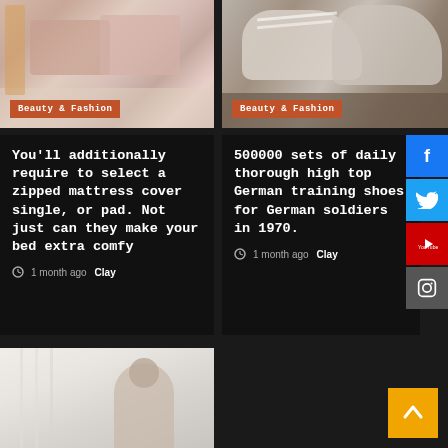[Figure (photo): Bedroom with pink pillows and duvet on a white bed with a lamp]
Beauty & Fashion
[Figure (photo): White/grey sneakers on a wooden floor surface]
Beauty & Fashion
You’ll additionally require to select a zipped mattress cover single, or pad. Not just can they make your bed extra comfy
1 month ago  Clay
500000 sets of daily thorough high top German training shoes for German soldiers in 1970.
1 month ago  Clay
[Figure (photo): Woman standing near white curtains in a bright room]